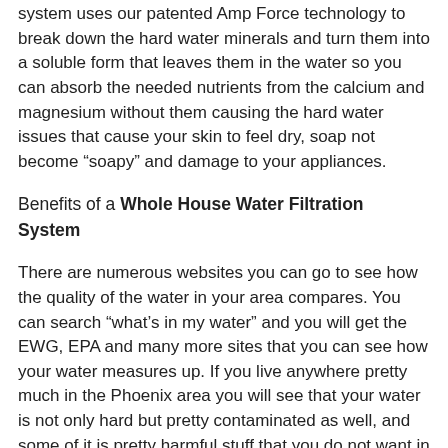system uses our patented Amp Force technology to break down the hard water minerals and turn them into a soluble form that leaves them in the water so you can absorb the needed nutrients from the calcium and magnesium without them causing the hard water issues that cause your skin to feel dry, soap not become “soapy” and damage to your appliances.
Benefits of a Whole House Water Filtration System
There are numerous websites you can go to see how the quality of the water in your area compares. You can search “what’s in my water” and you will get the EWG, EPA and many more sites that you can see how your water measures up. If you live anywhere pretty much in the Phoenix area you will see that your water is not only hard but pretty contaminated as well, and some of it is pretty harmful stuff that you do not want in your